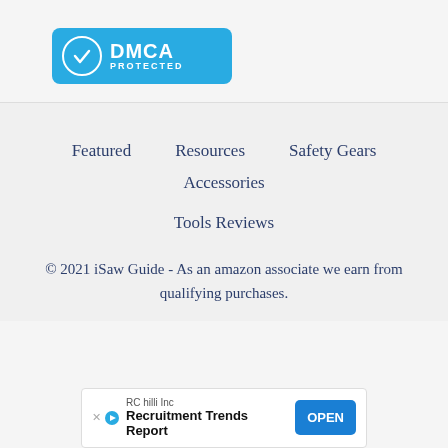[Figure (logo): DMCA Protected blue badge with checkmark icon and text 'DMCA PROTECTED']
Featured   Resources   Safety Gears   Accessories
Tools Reviews
© 2021 iSaw Guide - As an amazon associate we earn from qualifying purchases.
[Figure (infographic): Advertisement banner: RC hilli Inc - Recruitment Trends Report with OPEN button]